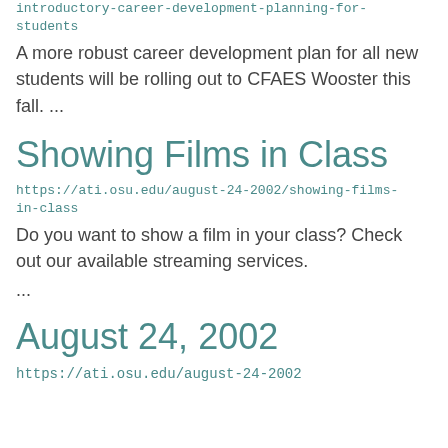introductory-career-development-planning-for-students
A more robust career development plan for all new students will be rolling out to CFAES Wooster this fall. ...
Showing Films in Class
https://ati.osu.edu/august-24-2002/showing-films-in-class
Do you want to show a film in your class? Check out our available streaming services. ...
August 24, 2002
https://ati.osu.edu/august-24-2002